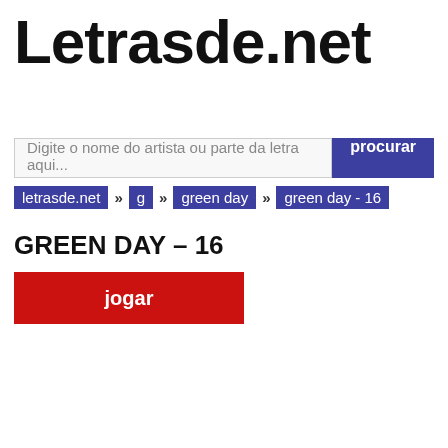Letrasde.net
Digite o nome do artista ou parte da letra aqui...
procurar
letrasde.net » g » green day » green day - 16
GREEN DAY – 16
jogar